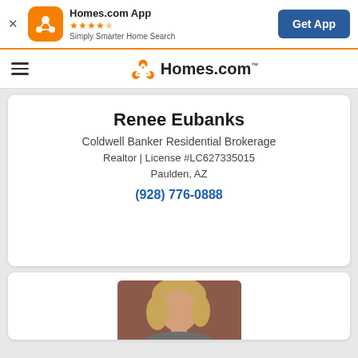[Figure (screenshot): Homes.com app banner with orange app icon, star rating, tagline 'Simply Smarter Home Search', and 'Get App' blue button]
[Figure (logo): Homes.com navigation bar with hamburger menu and Homes.com logo]
Renee Eubanks
Coldwell Banker Residential Brokerage
Realtor | License #LC627335015
Paulden, AZ
(928) 776-0888
[Figure (photo): Agent photo showing a woman with blonde hair against a dark reddish-brown background, partially visible at bottom of page]